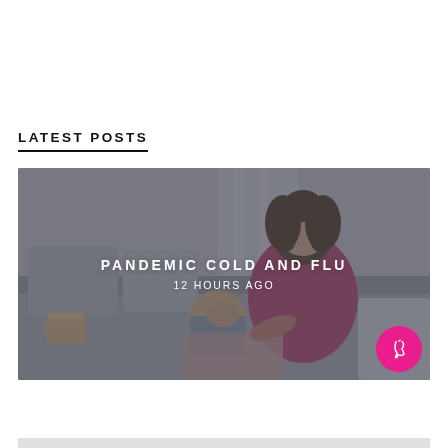LATEST POSTS
[Figure (photo): A woman with curly dark hair wearing a red top sits on a sofa comforting a sick child wrapped in a blanket. The scene is set indoors with pillows in the background. Overlaid text reads 'PANDEMIC COLD AND FLU' and '12 HOURS AGO'.]
PANDEMIC COLD AND FLU
12 HOURS AGO